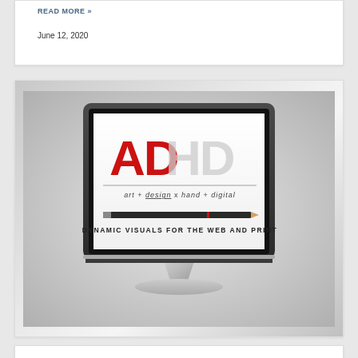READ MORE »
June 12, 2020
[Figure (illustration): Computer monitor displaying the ADHD logo: 'AD' in bold red letters and 'HD' in light gray, with tagline 'art + design x hand + digital' and 'DYNAMIC VISUALS FOR THE WEB AND PRINT', with a pencil graphic. Monitor shown with silver stand on a gray gradient background.]